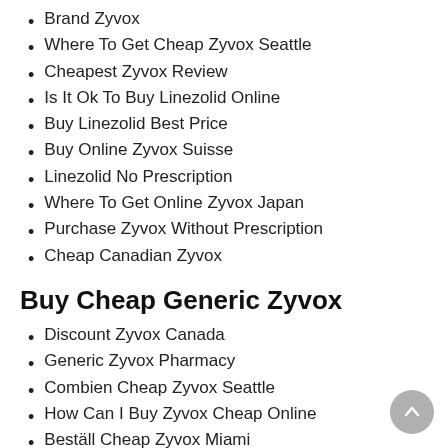Brand Zyvox
Where To Get Cheap Zyvox Seattle
Cheapest Zyvox Review
Is It Ok To Buy Linezolid Online
Buy Linezolid Best Price
Buy Online Zyvox Suisse
Linezolid No Prescription
Where To Get Online Zyvox Japan
Purchase Zyvox Without Prescription
Cheap Canadian Zyvox
Buy Cheap Generic Zyvox
Discount Zyvox Canada
Generic Zyvox Pharmacy
Combien Cheap Zyvox Seattle
How Can I Buy Zyvox Cheap Online
Beställ Cheap Zyvox Miami